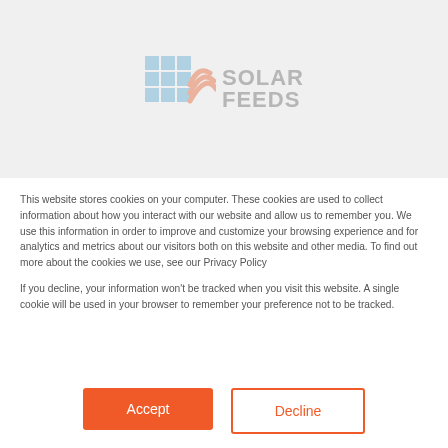[Figure (logo): Solar Feeds logo with solar panel grid icon and orange wave, text SOLAR FEEDS in grey]
This website stores cookies on your computer. These cookies are used to collect information about how you interact with our website and allow us to remember you. We use this information in order to improve and customize your browsing experience and for analytics and metrics about our visitors both on this website and other media. To find out more about the cookies we use, see our Privacy Policy
If you decline, your information won't be tracked when you visit this website. A single cookie will be used in your browser to remember your preference not to be tracked.
Accept
Decline